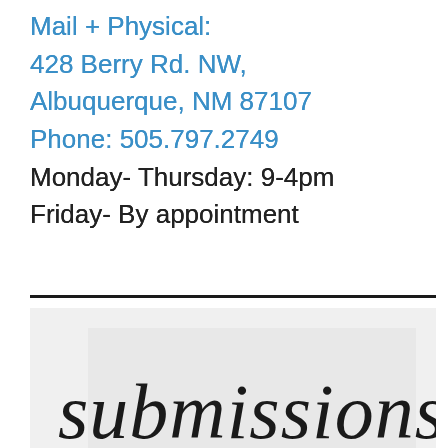Mail + Physical:
428 Berry Rd. NW,
Albuquerque, NM 87107
Phone: 505.797.2749
Monday- Thursday: 9-4pm
Friday- By appointment
[Figure (other): Decorative script calligraphy showing the word 'submissions' on a light gray background]